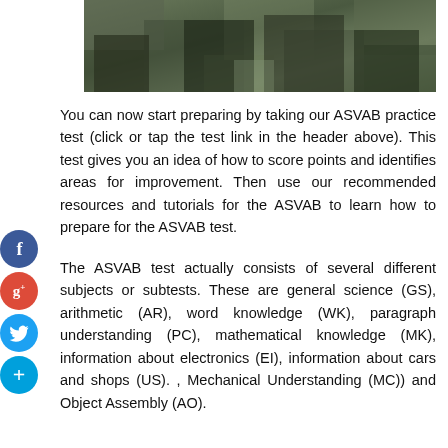[Figure (photo): Photo of military personnel in camouflage uniforms, cropped to show torsos and hands]
You can now start preparing by taking our ASVAB practice test (click or tap the test link in the header above). This test gives you an idea of how to score points and identifies areas for improvement. Then use our recommended resources and tutorials for the ASVAB to learn how to prepare for the ASVAB test.
The ASVAB test actually consists of several different subjects or subtests. These are general science (GS), arithmetic (AR), word knowledge (WK), paragraph understanding (PC), mathematical knowledge (MK), information about electronics (EI), information about cars and shops (US). , Mechanical Understanding (MC)) and Object Assembly (AO).